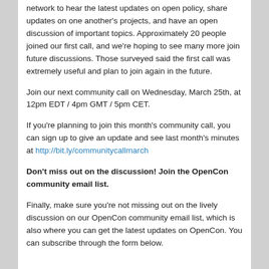network to hear the latest updates on open policy, share updates on one another's projects, and have an open discussion of important topics. Approximately 20 people joined our first call, and we're hoping to see many more join future discussions. Those surveyed said the first call was extremely useful and plan to join again in the future.
Join our next community call on Wednesday, March 25th, at 12pm EDT / 4pm GMT / 5pm CET.
If you're planning to join this month's community call, you can sign up to give an update and see last month's minutes at http://bit.ly/communitycallmarch
Don't miss out on the discussion! Join the OpenCon community email list.
Finally, make sure you're not missing out on the lively discussion on our OpenCon community email list, which is also where you can get the latest updates on OpenCon. You can subscribe through the form below.